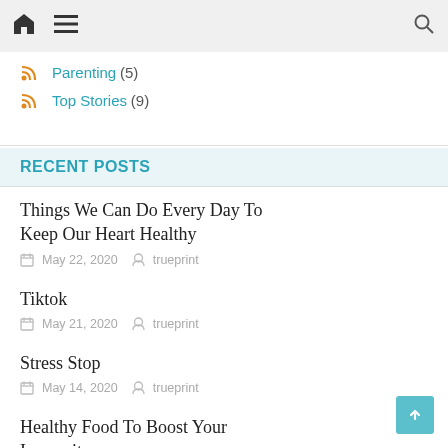Home Menu Search
Parenting (5)
Top Stories (9)
RECENT POSTS
Things We Can Do Every Day To Keep Our Heart Healthy
May 22, 2020  trueprint
Tiktok
May 21, 2020  trueprint
Stress Stop
May 14, 2020  trueprint
Healthy Food To Boost Your Immunity